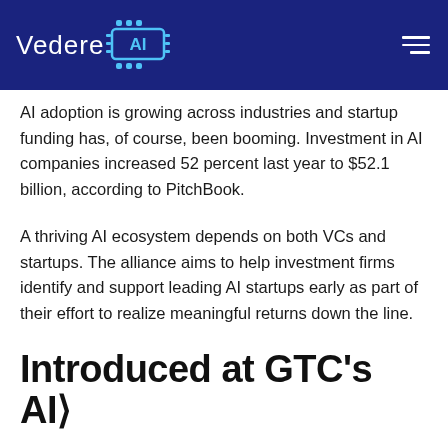Vedere AI
AI adoption is growing across industries and startup funding has, of course, been booming. Investment in AI companies increased 52 percent last year to $52.1 billion, according to PitchBook.
A thriving AI ecosystem depends on both VCs and startups. The alliance aims to help investment firms identify and support leading AI startups early as part of their effort to realize meaningful returns down the line.
Introduced at GTC's AI